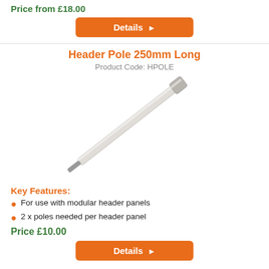Price from £18.00
[Figure (other): Orange 'Details ►' button]
Header Pole 250mm Long
Product Code: HPOLE
[Figure (photo): Photo of a white and metal header pole, 250mm long, shown diagonally]
Key Features:
For use with modular header panels
2 x poles needed per header panel
Price £10.00
[Figure (other): Orange 'Details ►' button]